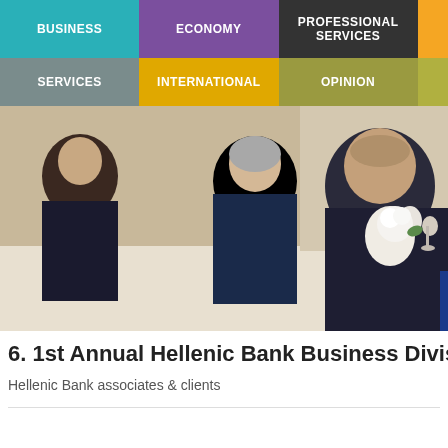BUSINESS | ECONOMY | PROFESSIONAL SERVICES | SERVICES | INTERNATIONAL | OPINION
[Figure (photo): People seated at a formal banquet dinner table, men in suits dining, event photo from the 1st Annual Hellenic Bank Business Division Gala]
6. 1st Annual Hellenic Bank Business Division G
Hellenic Bank associates & clients